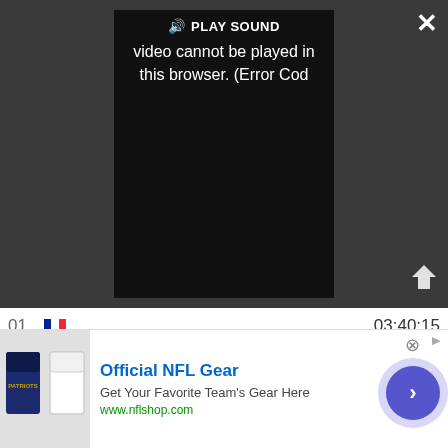[Figure (screenshot): Video player showing error: PLAY SOUND, 'Video cannot be played in this browser. (Error Cod' with close and expand buttons on dark background]
| Rank | Flag | Rider | Team | Time |
| --- | --- | --- | --- | --- |
| 01 | FR |  | FDJ-SUEZ-Futuroscope | 03:40:15 |
| 02 | IT | Sofia Bertizzolo | UAE Team ADQ | + 00 |
| 03 | IT | Elena Cecchini | Team SD Worx | + 00 |
| 04 | IT | Arianna Fidanza | Team BikeExchange-Jayco | + 00 |
| 05 | GB | Alice Barnes | CANYON//SRAM Racing | + 00 |
| 06 | FR | Eugénie Duval | FDJ-SUEZ-Futuroscope | + 00 |
| 07 | NO | Ingvild Gåskjenn | Team Coop-Hitec Products | + 00 |
| 08 | NO | Anne Dorthe Ysland |  |  |
[Figure (screenshot): Advertisement banner: Official NFL Gear - Get Your Favorite Team's Gear Here - www.nflshop.com]